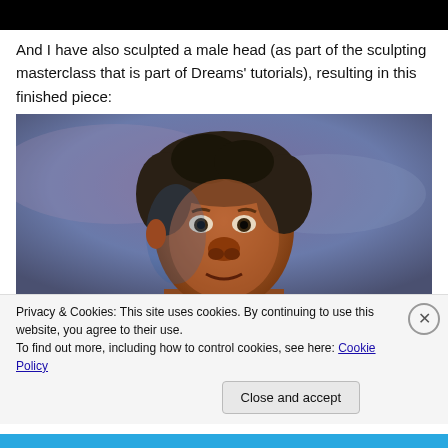[Figure (screenshot): Black bar at top of page (cropped video/image header)]
And I have also sculpted a male head (as part of the sculpting masterclass that is part of Dreams' tutorials), resulting in this finished piece:
[Figure (photo): A 3D sculpted male head rendered in a game engine (Dreams PS4), showing a dark-skinned male face with curly dark hair against a purple/gray background. The head has an exaggerated, stylized look.]
Privacy & Cookies: This site uses cookies. By continuing to use this website, you agree to their use.
To find out more, including how to control cookies, see here: Cookie Policy
Close and accept